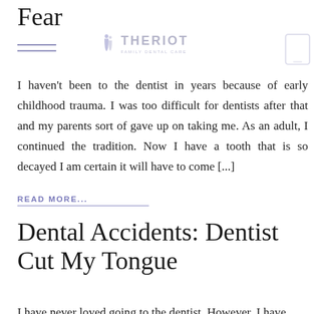Fear
[Figure (logo): Theriot Family Dental Care logo with two figures and text]
I haven't been to the dentist in years because of early childhood trauma. I was too difficult for dentists after that and my parents sort of gave up on taking me. As an adult, I continued the tradition. Now I have a tooth that is so decayed I am certain it will have to come [...]
READ MORE...
Dental Accidents: Dentist Cut My Tongue
I have never loved going to the dentist. However, I have